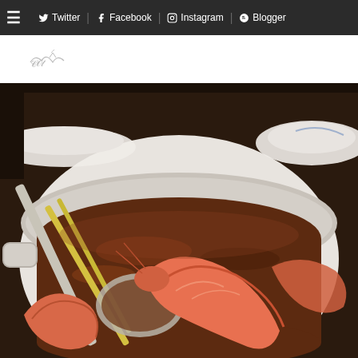≡  Twitter | Facebook | Instagram | Blogger
[Figure (logo): Small decorative script/handwriting logo or site watermark in gray]
[Figure (photo): Close-up food photo of a white ceramic pot containing a dark reddish-brown soup (tom yum or similar) with whole shrimp/prawns, lemongrass, and a metal ladle scooping the broth. Additional white bowls and dishes visible in background on a dark surface.]